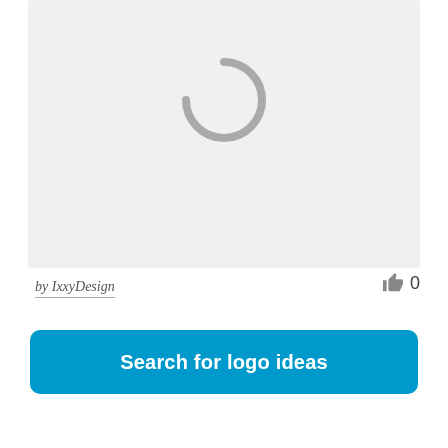[Figure (screenshot): Light gray rectangular image placeholder with a circular loading spinner icon in gray at the top center of the area]
by IxxyDesign
0
[Figure (other): Blue button with rounded corners containing white bold text: Search for logo ideas]